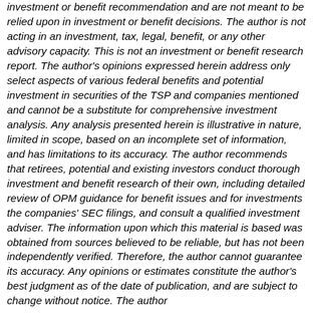investment or benefit recommendation and are not meant to be relied upon in investment or benefit decisions. The author is not acting in an investment, tax, legal, benefit, or any other advisory capacity. This is not an investment or benefit research report. The author's opinions expressed herein address only select aspects of various federal benefits and potential investment in securities of the TSP and companies mentioned and cannot be a substitute for comprehensive investment analysis. Any analysis presented herein is illustrative in nature, limited in scope, based on an incomplete set of information, and has limitations to its accuracy. The author recommends that retirees, potential and existing investors conduct thorough investment and benefit research of their own, including detailed review of OPM guidance for benefit issues and for investments the companies' SEC filings, and consult a qualified investment adviser. The information upon which this material is based was obtained from sources believed to be reliable, but has not been independently verified. Therefore, the author cannot guarantee its accuracy. Any opinions or estimates constitute the author's best judgment as of the date of publication, and are subject to change without notice. The author